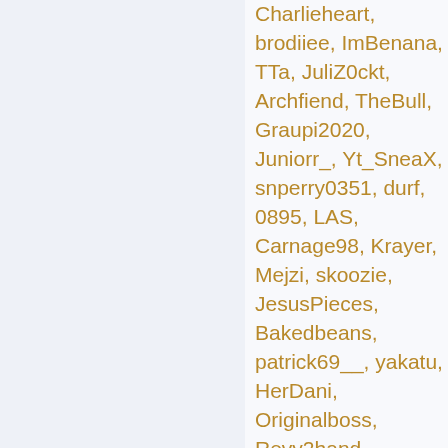Charlieheart, brodiiee, ImBenana, TTa, JuliZ0ckt, Archfiend, TheBull, Graupi2020, Juniorr_, Yt_SneaX, snperry0351, durf, 0895, LAS, Carnage98, Krayer, Mejzi, skoozie, JesusPieces, Bakedbeans, patrick69__, yakatu, HerDani, Originalboss, Revy2hand, Camabama, QSJ, _Vidia_, orangefox, BestiaDelPvP, EnderDragon12345, sledged, Q6Q, xzq, shyguy12, Grus, frostytops,